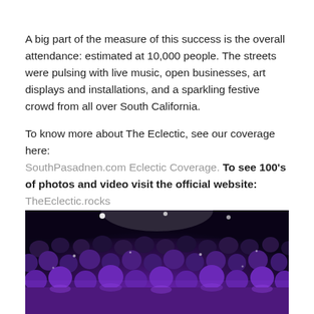A big part of the measure of this success is the overall attendance: estimated at 10,000 people.  The streets were pulsing with live music, open businesses, art displays and installations, and a sparkling festive crowd from all over South California.
To know more about The Eclectic, see our coverage here: SouthPasadnen.com Eclectic Coverage.  To see 100's of photos and video visit the official website: TheEclectic.rocks
[Figure (photo): A large crowd of people illuminated by purple stage lighting at an outdoor concert or festival event.]